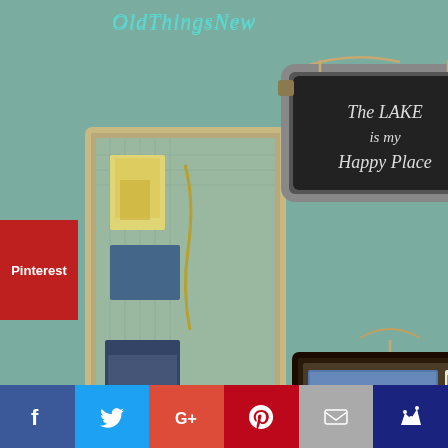OldThingsNew
[Figure (photo): Interior wall decorated with various framed bulletin boards, a chalkboard sign reading 'The LAKE is my Happy Place', photos pinned to boards, and decorative items on a teal/sage green painted wall. A Pinterest badge overlay is visible on the left side.]
[Figure (infographic): Social sharing bar at the bottom with buttons for Facebook (blue), Twitter (light blue), Google+ (red-orange), Pinterest (red), Email (gray), and an additional blue button with crown icon.]